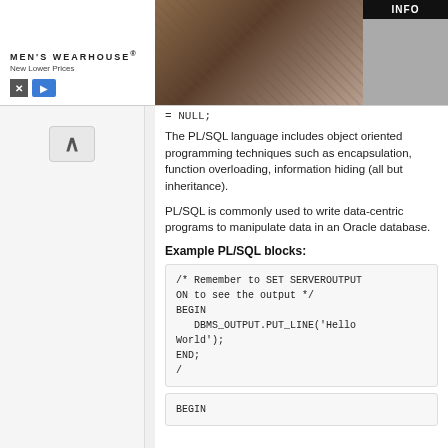[Figure (screenshot): Men's Wearhouse advertisement banner with couple in formal wear and INFO button]
= NULL;
The PL/SQL language includes object oriented programming techniques such as encapsulation, function overloading, information hiding (all but inheritance).
PL/SQL is commonly used to write data-centric programs to manipulate data in an Oracle database.
Example PL/SQL blocks:
/* Remember to SET SERVEROUTPUT ON to see the output */
BEGIN
   DBMS_OUTPUT.PUT_LINE('Hello World');
END;
/
BEGIN